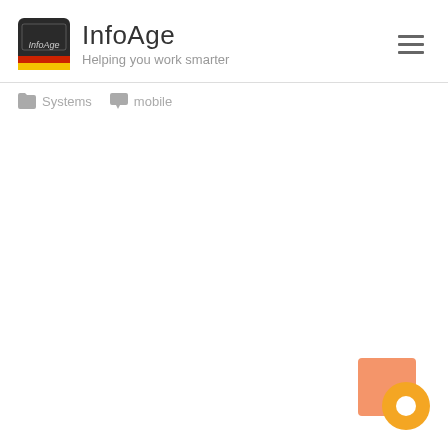InfoAge — Helping you work smarter
Systems   mobile
[Figure (other): Chat widget button in bottom-right corner with orange background square and circular chat icon]